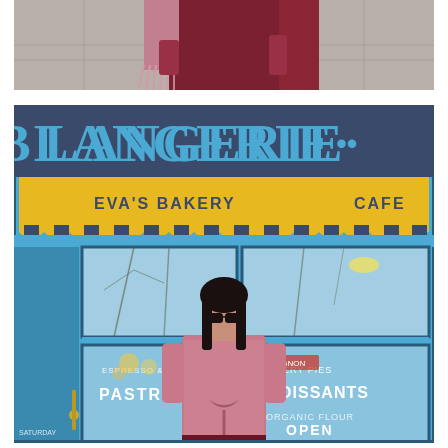[Figure (photo): Top portion of a person wearing burgundy/wine colored clothing and a fringed pink/mauve accessory, standing on a sidewalk with gray pavement tiles.]
[Figure (photo): A woman with dark hair and sunglasses wearing a pink tweed/boucle sweater stands in front of the Eva's Bakery Cafe storefront. The building facade is bright blue with a yellow awning. Large decorative text reads 'LANGERIE·' at the top. The yellow awning reads 'EVA'S BAKERY' on the left and 'CAFE' on the right. Store windows display text: 'PASTRIES', 'CROISSANTS', 'ESPRESSO & PIE', 'BAKERY PIES', 'ORGANIC FLOUR', 'OPEN', and 'SATURDAY' with hours.]